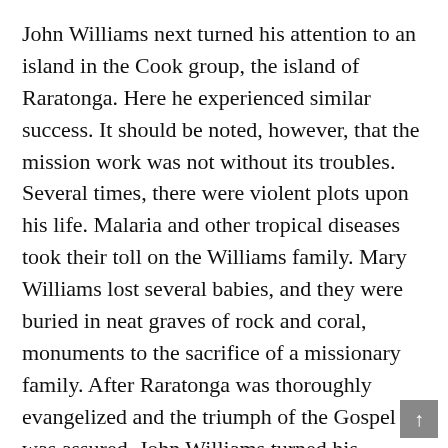John Williams next turned his attention to an island in the Cook group, the island of Raratonga. Here he experienced similar success. It should be noted, however, that the mission work was not without its troubles. Several times, there were violent plots upon his life. Malaria and other tropical diseases took their toll on the Williams family. Mary Williams lost several babies, and they were buried in neat graves of rock and coral, monuments to the sacrifice of a missionary family. After Raratonga was thoroughly evangelized and the triumph of the Gospel was assured, John Williams turned his attention again eastward, toward the Samoan group. It was during these years that he planned the evangelization of the South Pacific. He knew that white men alone could not do the work. Native teachers who understood the culture, knew the